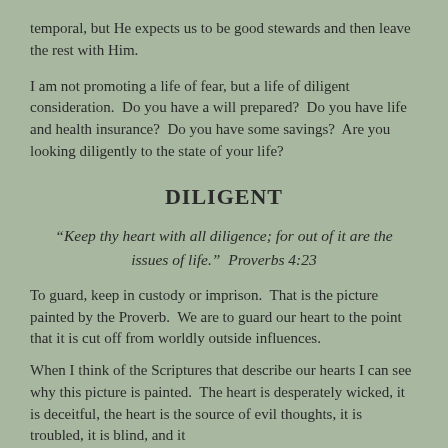temporal, but He expects us to be good stewards and then leave the rest with Him.
I am not promoting a life of fear, but a life of diligent consideration.  Do you have a will prepared?  Do you have life and health insurance?  Do you have some savings?  Are you looking diligently to the state of your life?
DILIGENT
“Keep thy heart with all diligence; for out of it are the issues of life.”  Proverbs 4:23
To guard, keep in custody or imprison.  That is the picture painted by the Proverb.  We are to guard our heart to the point that it is cut off from worldly outside influences.
When I think of the Scriptures that describe our hearts I can see why this picture is painted.  The heart is desperately wicked, it is deceitful, the heart is the source of evil thoughts, it is troubled, it is blind, and it